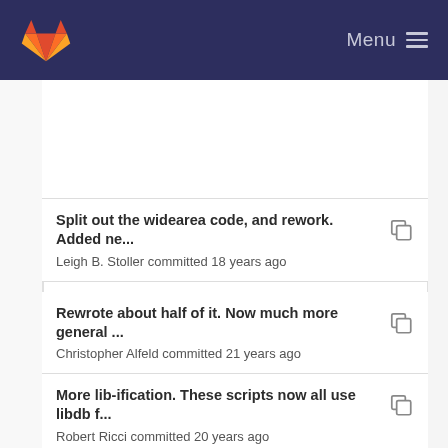Menu
Split out the widearea code, and rework. Added ne... | Leigh B. Stoller committed 18 years ago
Rewrote about half of it. Now much more general ... | Christopher Alfeld committed 21 years ago
More lib-ification. These scripts now all use libdb f... | Robert Ricci committed 20 years ago
Rewrote about half of it. Now much more general ... | Christopher Alfeld committed 21 years ago
More lib-ification. These scripts now all use libdb f... | Robert Ricci committed 20 years ago